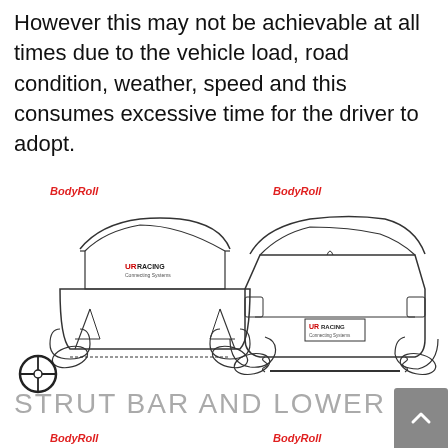However this may not be achievable at all times due to the vehicle load, road condition, weather, speed and this consumes excessive time for the driver to adopt.
[Figure (engineering-diagram): Two side-by-side technical line drawings of a car (front and rear views) showing body roll, with BodyRoll labels and UltraRacing logo on each car]
STRUT BAR AND LOWER ARM BA
[Figure (engineering-diagram): Two partial BodyRoll labeled car diagrams at bottom of page (cropped)]